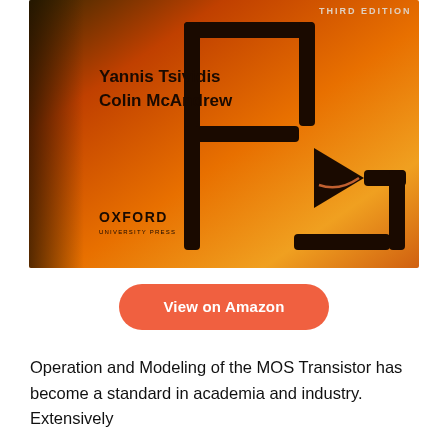[Figure (photo): Book cover of 'Operation and Modeling of the MOS Transistor, Third Edition' by Yannis Tsividis and Colin McAndrew, published by Oxford University Press. Orange gradient background with black circuit-like line art forming a MOSFET schematic symbol with a triangle/arrow. Author names in bold black text on the left side, OXFORD UNIVERSITY PRESS logo at bottom left.]
View on Amazon
Operation and Modeling of the MOS Transistor has become a standard in academia and industry. Extensively